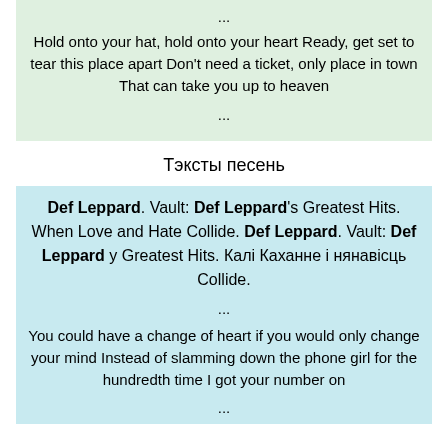...
Hold onto your hat, hold onto your heart Ready, get set to tear this place apart Don't need a ticket, only place in town That can take you up to heaven
...
Тэксты песень
Def Leppard. Vault: Def Leppard's Greatest Hits. When Love and Hate Collide. Def Leppard. Vault: Def Leppard у Greatest Hits. Калі Каханне і нянавісць Collide.
...
You could have a change of heart if you would only change your mind Instead of slamming down the phone girl for the hundredth time I got your number on
...